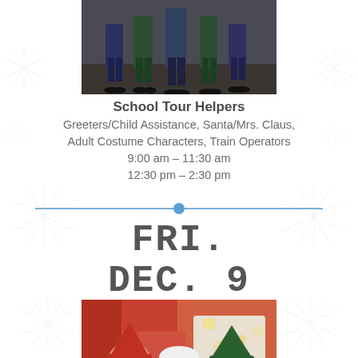[Figure (photo): Group photo showing people from legs down, outdoor event setting]
School Tour Helpers
Greeters/Child Assistance, Santa/Mrs. Claus,
Adult Costume Characters, Train Operators
9:00 am – 11:30 am
12:30 pm – 2:30 pm
FRI.
DEC. 9
[Figure (photo): Three people in costume including two elves and Mrs. Claus smiling at a Christmas event]